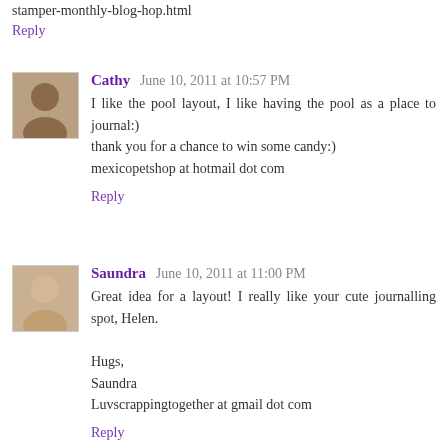stamper-monthly-blog-hop.html
Reply
Cathy June 10, 2011 at 10:57 PM
I like the pool layout, I like having the pool as a place to journal:)
thank you for a chance to win some candy:)
mexicopetshop at hotmail dot com
Reply
Saundra June 10, 2011 at 11:00 PM
Great idea for a layout! I really like your cute journalling spot, Helen.

Hugs,
Saundra
Luvscrappingtogether at gmail dot com
Reply